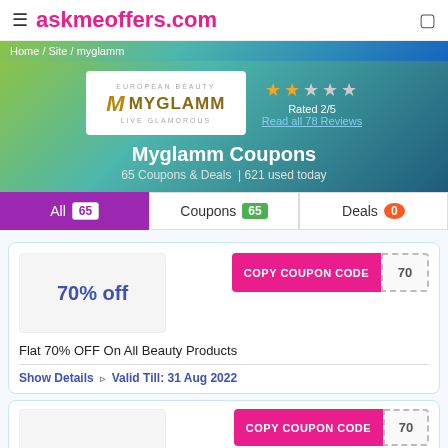askmeoffers.com
Home / Site / myglamm
[Figure (logo): MyGlamm European Beauty logo]
Rated 2/5
Read all 78 Reviews
Myglamm Coupons
65 Coupons & Deals  | 621 used today
All 65  Coupons 65  Deals 0
COPY COUPON CODE  70
70% off
Flat 70% OFF On All Beauty Products
Show Details  ⊳  Valid Till: 31 Aug 2022
COPY COUPON CODE  70